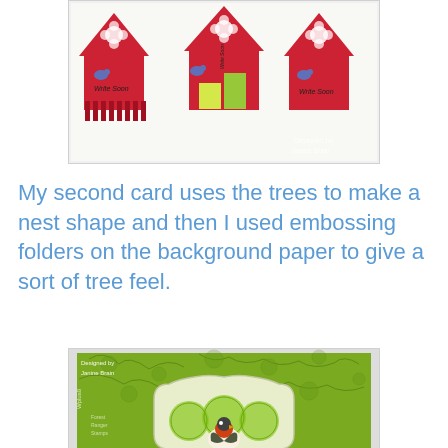[Figure (photo): Three red paper birdhouse cards arranged in a row, each with a flower cutout on the roof and a small bird decoration. The cards appear to be handmade craft projects with green sticky note accents.]
My second card uses the trees to make a nest shape and then I used embossing folders on the background paper to give a sort of tree feel.
[Figure (photo): A handmade card with green tree-patterned embossed background paper and a decorative label shape in the center containing circular tree designs with a small red robin bird.]